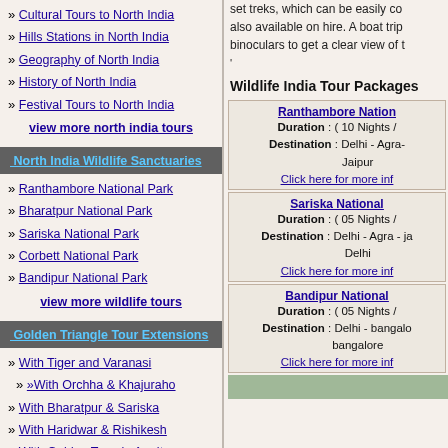Cultural Tours to North India
Hills Stations in North India
Geography of North India
History of North India
Festival Tours to North India
view more north india tours
North India Wildlife Sanctuaries
Ranthambore National Park
Bharatpur National Park
Sariska National Park
Corbett National Park
Bandipur National Park
view more wildlife tours
Golden Triangle Tour Extensions
With Tiger and Varanasi
With Orchha & Khajuraho
With Bharatpur & Sariska
With Haridwar & Rishikesh
With Golden Temple Amritsar
With Kerla-the Gods Own Country
With Goa & Mumbai
view more golden triangle tours
set treks, which can be easily co also available on hire. A boat trip binoculars to get a clear view of t
Wildlife India Tour Packages
Ranthambore Nation...
Duration : ( 10 Nights /...
Destination : Delhi - Agra- ... Jaipur
Click here for more inf...
Sariska National...
Duration : ( 05 Nights /...
Destination : Delhi - Agra - ja... Delhi
Click here for more inf...
Bandipur National...
Duration : ( 05 Nights /...
Destination : Delhi - bangalo... bangalore
Click here for more inf...